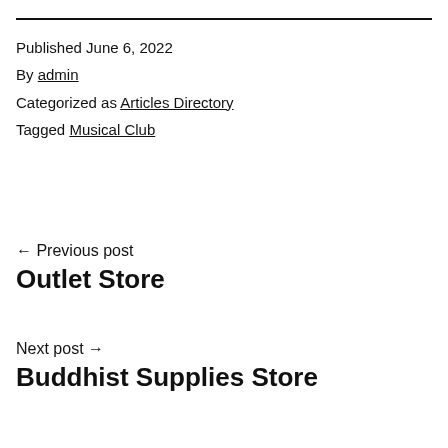Published June 6, 2022
By admin
Categorized as Articles Directory
Tagged Musical Club
← Previous post
Outlet Store
Next post →
Buddhist Supplies Store